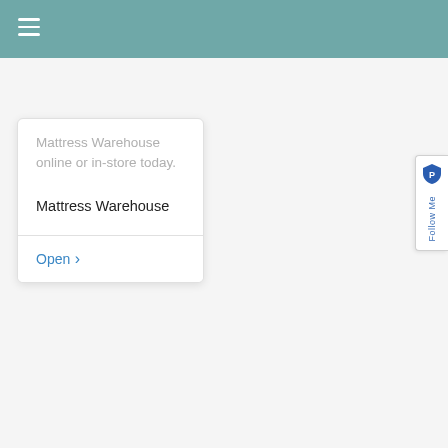≡
Mattress Warehouse online or in-store today.
Mattress Warehouse
Open >
[Figure (other): Follow Me sidebar widget with shield/privacy icon and rotated 'Follow Me' text label]